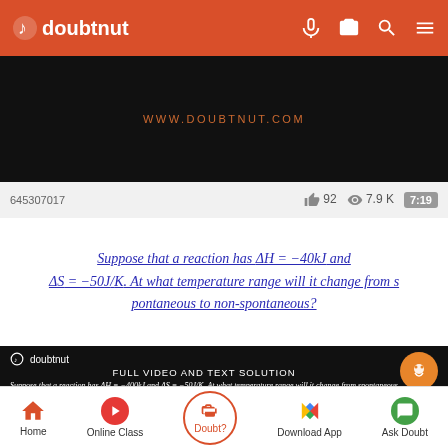doubtnut
[Figure (screenshot): Black video thumbnail area with www.doubtnut.com text]
645307017    👍 92   👁 7.9 K   7:19
Suppose that a reaction has ΔH = −40kJ and ΔS = −50J/K. At what temperature range will it change from spontaneous to non-spontaneous?
[Figure (screenshot): Doubtnut full video and text solution panel showing the question with math: ΔH = −400kJ and ΔS = −50J/K]
Home   Online Class   Doubt?   Download App   Ask Doubt